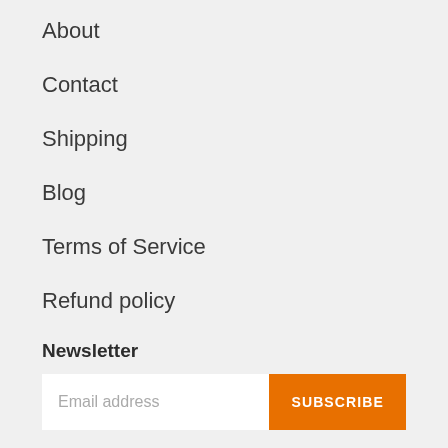About
Contact
Shipping
Blog
Terms of Service
Refund policy
Newsletter
Email address  SUBSCRIBE